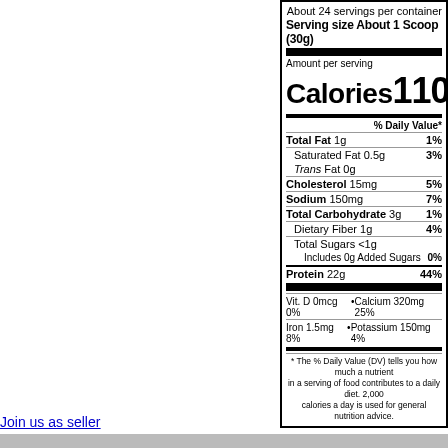| About 24 servings per container |
| Serving size About 1 Scoop (30g) |
| Amount per serving |
| Calories | 110 |
| % Daily Value* |
| Total Fat 1g | 1% |
| Saturated Fat 0.5g | 3% |
| Trans Fat 0g |  |
| Cholesterol 15mg | 5% |
| Sodium 150mg | 7% |
| Total Carbohydrate 3g | 1% |
| Dietary Fiber 1g | 4% |
| Total Sugars <1g |  |
| Includes 0g Added Sugars | 0% |
| Protein 22g | 44% |
| Vit. D 0mcg 0% | Calcium 320mg 25% |
| Iron 1.5mg 8% | Potassium 150mg 4% |
| * The % Daily Value (DV) tells you how much a nutrient in a serving of food contributes to a daily diet. 2,000 calories a day is used for general nutrition advice. |
Join us as seller